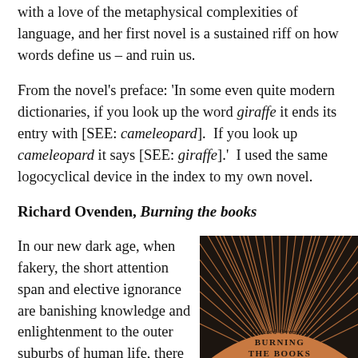with a love of the metaphysical complexities of language, and her first novel is a sustained riff on how words define us – and ruin us.
From the novel's preface: 'In some even quite modern dictionaries, if you look up the word giraffe it ends its entry with [SEE: cameleopard].  If you look up cameleopard it says [SEE: giraffe].'  I used the same logocyclical device in the index to my own novel.
Richard Ovenden, Burning the books
In our new dark age, when fakery, the short attention span and elective ignorance are banishing knowledge and enlightenment to the outer suburbs of human life, there couldn't be a better
[Figure (illustration): Book cover of 'Burning the Books' by Richard Ovenden. Dark background with radiating curved lines in copper/orange tones forming a sun-like pattern. An arched copper-colored band at the bottom shows the author name and title: BURNING THE BOOKS.]